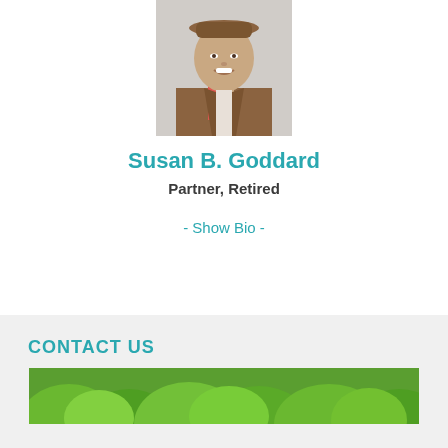[Figure (photo): Headshot of Susan B. Goddard, a smiling woman wearing a brown blazer and colorful scarf, brown hat, against a light background.]
Susan B. Goddard
Partner, Retired
- Show Bio -
CONTACT US
[Figure (photo): Partial photo showing green foliage/trees, used as a banner image in the Contact Us section.]